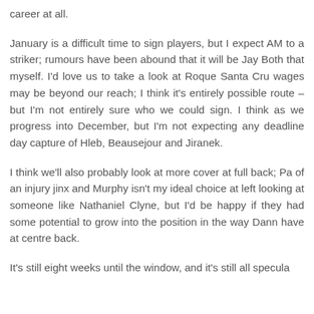career at all.

January is a difficult time to sign players, but I expect AM to a striker; rumours have been abound that it will be Jay Both that myself. I'd love us to take a look at Roque Santa Cru wages may be beyond our reach; I think it's entirely possible route – but I'm not entirely sure who we could sign. I think as we progress into December, but I'm not expecting any deadline day capture of Hleb, Beausejour and Jiranek.

I think we'll also probably look at more cover at full back; Pa of an injury jinx and Murphy isn't my ideal choice at left looking at someone like Nathaniel Clyne, but I'd be happy if they had some potential to grow into the position in the way Dann have at centre back.

It's still eight weeks until the window, and it's still all specula